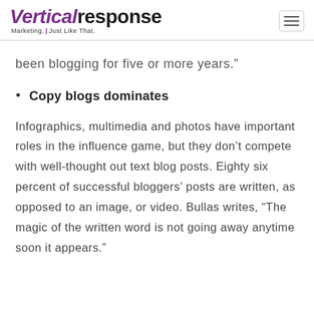VerticalResponse — Marketing. Just Like That.
been blogging for five or more years.”
Copy blogs dominates
Infographics, multimedia and photos have important roles in the influence game, but they don’t compete with well-thought out text blog posts. Eighty six percent of successful bloggers’ posts are written, as opposed to an image, or video. Bullas writes, “The magic of the written word is not going away anytime soon it appears.”